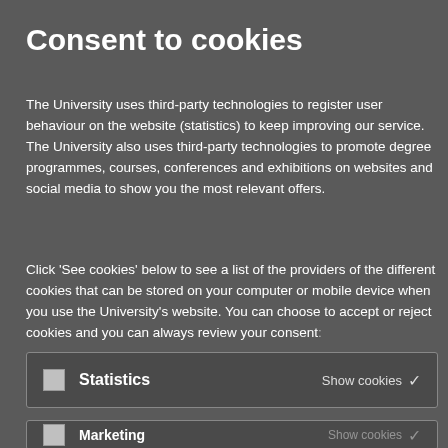Consent to cookies
The University uses third-party technologies to register user behaviour on the website (statistics) to keep improving our service. The University also uses third-party technologies to promote degree programmes, courses, conferences and exhibitions on websites and social media to show you the most relevant offers.
Click 'See cookies' below to see a list of the providers of the different cookies that can be stored on your computer or mobile device when you use the University's website. You can choose to accept or reject cookies and you can always review your consent
| Checkbox | Label | Action |
| --- | --- | --- |
| ☐ | Statistics | Show cookies ∨ |
| ☐ | Marketing | Show cookies ∨ |